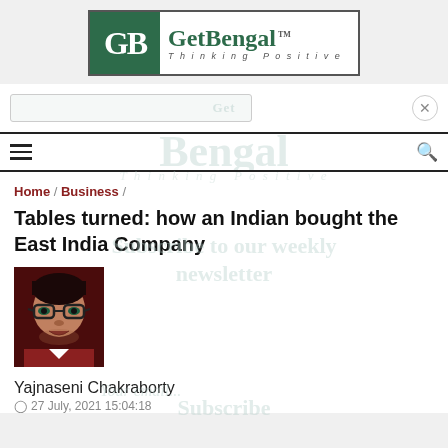[Figure (logo): GetBengal logo with green GB monogram and tagline 'Thinking Positive']
Home / Business /
Tables turned: how an Indian bought the East India Company
[Figure (photo): Author photo of Yajnaseni Chakraborty]
Yajnaseni Chakraborty
27 July, 2021 15:04:18